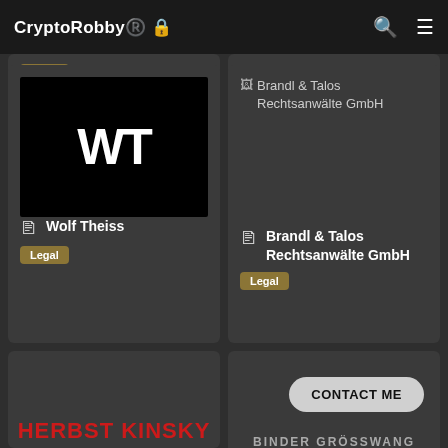CryptoRobby®️
[Figure (logo): Wolf Theiss logo: black square with white 'WT' letters]
Wolf Theiss
Legal
[Figure (illustration): Brandl & Talos Rechtsanwälte GmbH broken image placeholder]
Brandl & Talos Rechtsanwälte GmbH
Legal
[Figure (logo): Herbst Kinsky logo in red text]
[Figure (logo): Binder Grösswang logo in grey text]
CONTACT ME